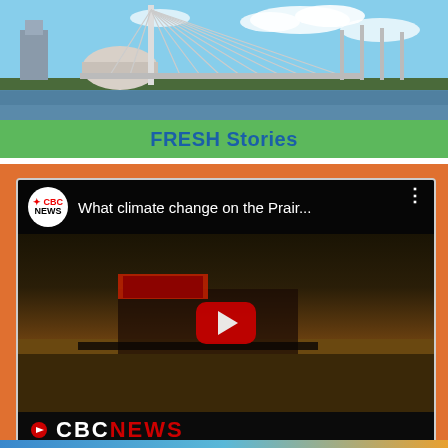[Figure (photo): Aerial/cityscape photo showing Winnipeg skyline with the Esplanade Riel bridge and the Canadian Museum for Human Rights dome]
FRESH Stories
[Figure (screenshot): YouTube video thumbnail from CBC News titled 'What climate change on the Prair...' showing a combine harvester in a grain field with a red play button overlay and CBC News logo at bottom]
Canada's Prairies are already seeing more drought, flooding and warmer winters as the Earth's climate warms, but what can we expect in the longer term?